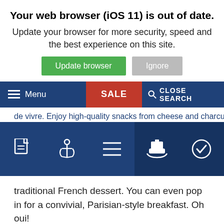Your web browser (iOS 11) is out of date.
Update your browser for more security, speed and the best experience on this site.
[Figure (screenshot): Two buttons: green 'Update browser' and grey 'Ignore']
[Figure (screenshot): Navigation bar with hamburger Menu, red SALE button, and CLOSE SEARCH with magnifier icon]
de vivre. Enjoy high-quality snacks from cheese and charcuterie
[Figure (screenshot): Dark blue icon bar with five icons: document, anchor, list, boat/ferry, checkmark]
traditional French dessert. You can even pop in for a convivial, Parisian-style breakfast. Oh oui!